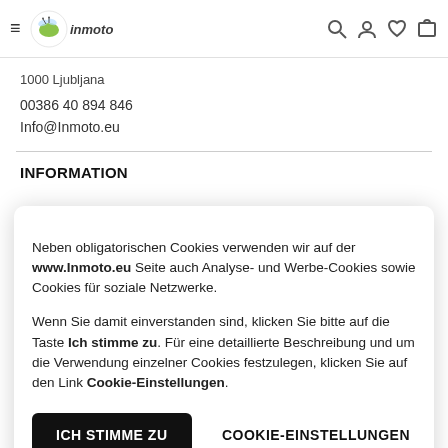inmoto logo and navigation icons
1000 Ljubljana
00386 40 894 846
Info@Inmoto.eu
INFORMATION
Neben obligatorischen Cookies verwenden wir auf der www.Inmoto.eu Seite auch Analyse- und Werbe-Cookies sowie Cookies für soziale Netzwerke.

Wenn Sie damit einverstanden sind, klicken Sie bitte auf die Taste Ich stimme zu. Für eine detaillierte Beschreibung und um die Verwendung einzelner Cookies festzulegen, klicken Sie auf den Link Cookie-Einstellungen.
ICH STIMME ZU
COOKIE-EINSTELLUNGEN
SPORT